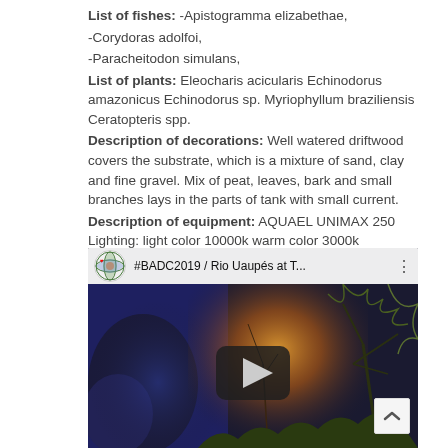List of fishes: -Apistogramma elizabethae, -Corydoras adolfoi, -Paracheitodon simulans, List of plants: Eleocharis acicularis Echinodorus amazonicus Echinodorus sp. Myriophyllum braziliensis Ceratopteris spp. Description of decorations: Well watered driftwood covers the substrate, which is a mixture of sand, clay and fine gravel. Mix of peat, leaves, bark and small branches lays in the parts of tank with small current. Description of equipment: AQUAEL UNIMAX 250 Lighting: light color 10000k warm color 3000k Water parameters: KH 4, GH 4, pH 6, conductivity 50 μS/cm Additional info: I have already provided all the information in other sections.
[Figure (screenshot): YouTube video thumbnail showing '#BADC2019 / Rio Uaupés at T...' with a nature/aquarium scene, play button, and a channel logo in the top bar.]